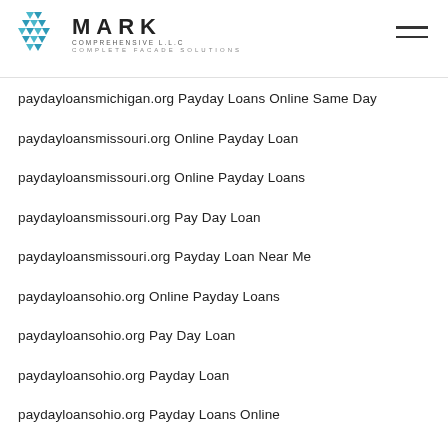MARK COMPREHENSIVE L.L.C — COMPLETE FACADE SOLUTIONS
paydayloansmichigan.org Payday Loans Online Same Day
paydayloansmissouri.org Online Payday Loan
paydayloansmissouri.org Online Payday Loans
paydayloansmissouri.org Pay Day Loan
paydayloansmissouri.org Payday Loan Near Me
paydayloansohio.org Online Payday Loans
paydayloansohio.org Pay Day Loan
paydayloansohio.org Payday Loan
paydayloansohio.org Payday Loans Online
paydayloansohio.org Payday Loans Online Same Day